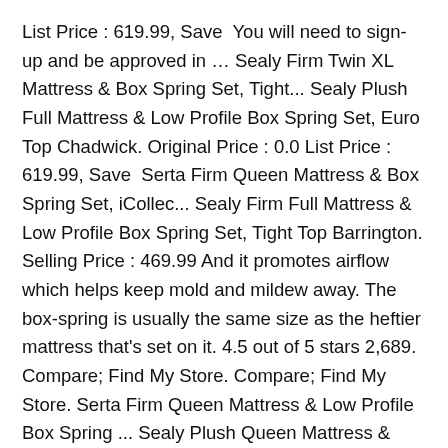List Price : 619.99, Save  You will need to sign-up and be approved in … Sealy Firm Twin XL Mattress & Box Spring Set, Tight... Sealy Plush Full Mattress & Low Profile Box Spring Set, Euro Top Chadwick. Original Price : 0.0 List Price : 619.99, Save  Serta Firm Queen Mattress & Box Spring Set, iCollec... Sealy Firm Full Mattress & Low Profile Box Spring Set, Tight Top Barrington. Selling Price : 469.99 And it promotes airflow which helps keep mold and mildew away. The box-spring is usually the same size as the heftier mattress that's set on it. 4.5 out of 5 stars 2,689. Compare; Find My Store. Compare; Find My Store. Serta Firm Queen Mattress & Low Profile Box Spring ... Sealy Plush Queen Mattress & Low Profile Box Spring Set, Tight Top Donovan, Serta Firm Queen Mattress & Low Profile Box Spring Set, iCollection Perfect Sleeper Malin, California Customers Only: Do Not Sell My Info. Big Lots Mattress And Box Springs is a type of bed base typically